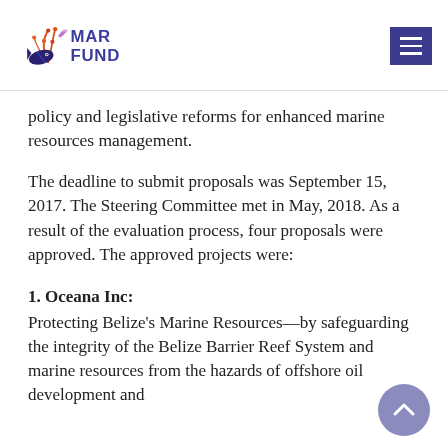[Figure (logo): MAR Fund logo with fish and coral illustration and text MAR FUND]
policy and legislative reforms for enhanced marine resources management.
The deadline to submit proposals was September 15, 2017. The Steering Committee met in May, 2018. As a result of the evaluation process, four proposals were approved. The approved projects were:
1. Oceana Inc: Protecting Belize's Marine Resources—by safeguarding the integrity of the Belize Barrier Reef System and marine resources from the hazards of offshore oil development and